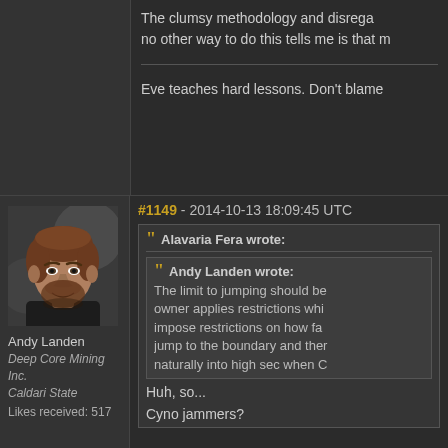The clumsy methodology and disregard... no other way to do this tells me is that m...
Eve teaches hard lessons. Don't blame...
#1149 - 2014-10-13 18:09:45 UTC
[Figure (photo): Forum user avatar showing a male character with brown hair and beard, in dark clothing, sci-fi game style portrait]
Andy Landen
Deep Core Mining Inc. Caldari State
Likes received: 517
Alavaria Fera wrote:
Andy Landen wrote:
The limit to jumping should be... owner applies restrictions whi... impose restrictions on how far... jump to the boundary and ther... naturally into high sec when C...
Huh, so...
Cyno jammers?
Cyno jammers would work in this role if...